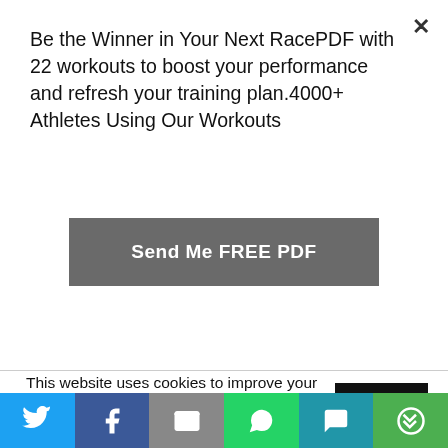Be the Winner in Your Next RacePDF with 22 workouts to boost your performance and refresh your training plan.4000+ Athletes Using Our Workouts
Send Me FREE PDF
[Figure (photo): A cyclist wearing an orange and black jersey with sponsor logos including Eden, photographed from chest up against a teal/grey wall background]
This website uses cookies to improve your experience. We'll assume you're ok with this, but you can opt-out if you wish.
Accept
[Figure (infographic): Social sharing bar with Twitter, Facebook, Email, WhatsApp, SMS, and More icons]